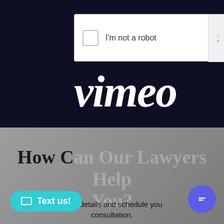[Figure (screenshot): Screenshot of a webpage showing a CAPTCHA 'I'm not a robot' checkbox widget overlaid on a dark navy background with the Vimeo logo in white italic lettering partially visible behind.]
I'm not a robot
[Figure (screenshot): Screenshot of a law firm website with a chat popup showing an avatar of a woman with the message 'Hi. Have a question? Text us here.' There is a 'close' button in the upper right, a 'Text us!' button in cyan at the lower left, a purple chat icon button at the lower right, and heading text 'How Can Our Lawyers Help You?' with body text about case details and scheduling a consultation.]
close
Hi. Have a question? Text us here.
How Can Our Lawyers Help You?
case details and schedule your consultation.
Text us!